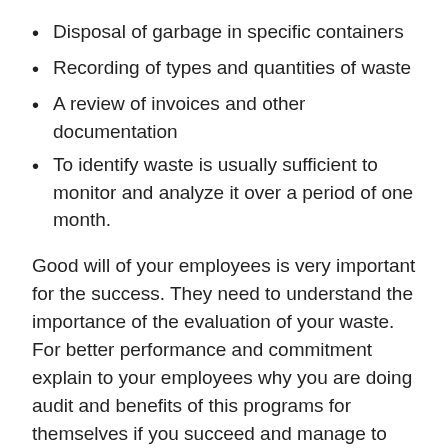Disposal of garbage in specific containers
Recording of types and quantities of waste
A review of invoices and other documentation
To identify waste is usually sufficient to monitor and analyze it over a period of one month.
Good will of your employees is very important for the success. They need to understand the importance of the evaluation of your waste. For better performance and commitment explain to your employees why you are doing audit and benefits of this programs for themselves if you succeed and manage to reduce the quantity of it.
restaurant food waste reduction plate